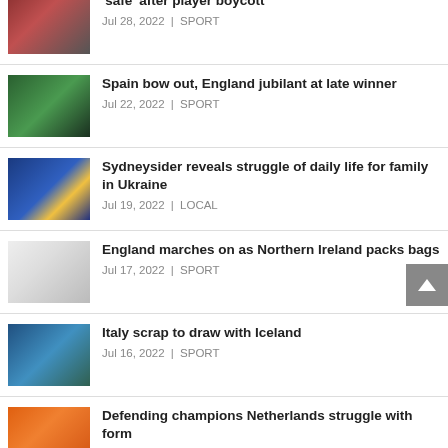'safe' after player boycott — Jul 28, 2022 | SPORT
Spain bow out, England jubilant at late winner — Jul 22, 2022 | SPORT
Sydneysider reveals struggle of daily life for family in Ukraine — Jul 19, 2022 | LOCAL
England marches on as Northern Ireland packs bags — Jul 17, 2022 | SPORT
Italy scrap to draw with Iceland — Jul 16, 2022 | SPORT
Defending champions Netherlands struggle with form